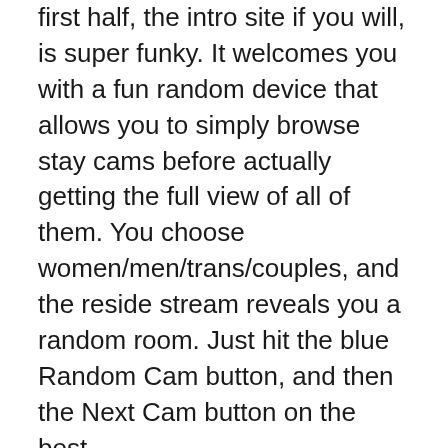first half, the intro site if you will, is super funky. It welcomes you with a fun random device that allows you to simply browse stay cams before actually getting the full view of all of them. You choose women/men/trans/couples, and the reside stream reveals you a random room. Just hit the blue Random Cam button, and then the Next Cam button on the best.
There is nothing unique on supply there apart from a clever touchdown web page. The site is likely to be not a rip-off, but keep in thoughts that in some circumstances, your security is your own concern. If the women ask you to send money for the exclusive private present, it's as a lot as you to determine, but nobody can assure that you won't be deceived. To avoid fraud, use a secure payment